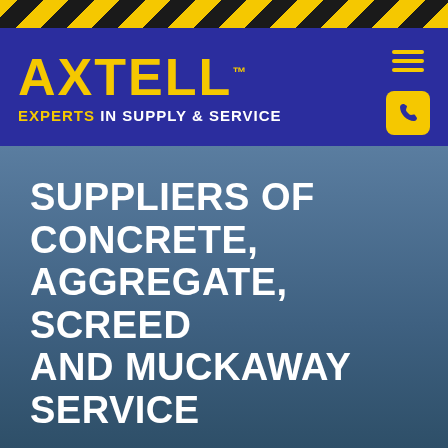[Figure (other): Hazard stripe bar with diagonal yellow and black stripes at top of page]
AXTELL™
EXPERTS IN SUPPLY & SERVICE
[Figure (other): Hamburger menu icon in yellow lines]
[Figure (other): Phone icon in yellow rounded square]
SUPPLIERS OF CONCRETE, AGGREGATE, SCREED AND MUCKAWAY SERVICE
With our distinctive blue and yellow trucks, Axtell supply a range of concrete services and products